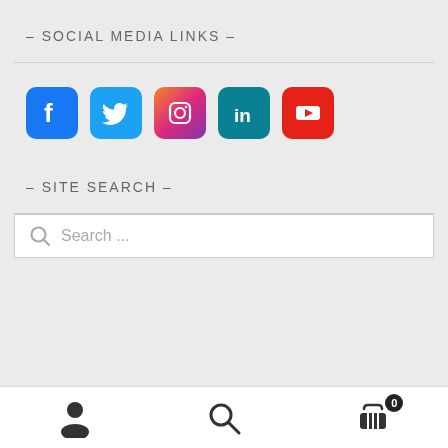– SOCIAL MEDIA LINKS –
[Figure (infographic): Row of five social media icon buttons: Facebook (blue), Twitter (light blue), Instagram (pink/red gradient), LinkedIn (teal), YouTube (red)]
– SITE SEARCH –
[Figure (screenshot): Search input box with magnifying glass icon and placeholder text 'Search ...']
Bottom navigation bar with user/account icon, search icon, and shopping cart icon with badge showing 0